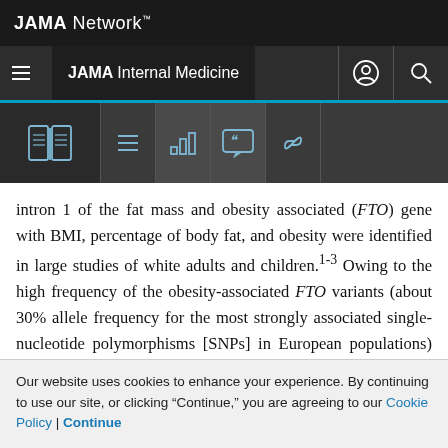JAMA Network™
JAMA Internal Medicine
intron 1 of the fat mass and obesity associated (FTO) gene with BMI, percentage of body fat, and obesity were identified in large studies of white adults and children.1-3 Owing to the high frequency of the obesity-associated FTO variants (about 30% allele frequency for the most strongly associated single-nucleotide polymorphisms [SNPs] in European populations) and their impact (each "risk allele" is associated with a 1.75-kg increase in body weight), these variants carry a population attributable
Our website uses cookies to enhance your experience. By continuing to use our site, or clicking "Continue," you are agreeing to our Cookie Policy | Continue